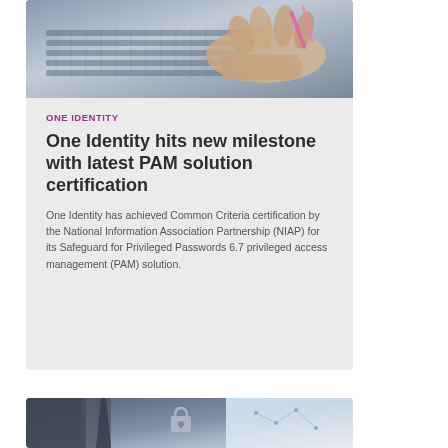[Figure (photo): Close-up photo of hands typing on a laptop keyboard, top portion of a news card]
ONE IDENTITY
One Identity hits new milestone with latest PAM solution certification
One Identity has achieved Common Criteria certification by the National Information Association Partnership (NIAP) for its Safeguard for Privileged Passwords 6.7 privileged access management (PAM) solution.
[Figure (photo): Partial photo of a person in a suit with a digital security padlock overlay, bottom card]